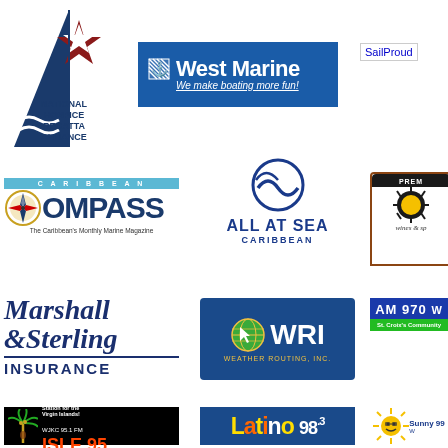[Figure (logo): National Hospice Regatta Alliance logo - sail with star and waves, text below]
[Figure (logo): West Marine logo - blue background, anchor icon, 'We make boating more fun!' tagline]
[Figure (logo): SailProud logo - text link]
[Figure (logo): Caribbean Compass - The Caribbean's Monthly Marine Magazine logo]
[Figure (logo): All At Sea Caribbean logo with wave circle icon]
[Figure (logo): Premier Wines & Spirits logo - partial, circular badge]
[Figure (logo): Marshall & Sterling Insurance logo]
[Figure (logo): WRI Weather Routing Inc logo]
[Figure (logo): AM 970 radio station logo - St. Croix's Community radio]
[Figure (logo): Isle 95 WJKC 95.1 FM radio logo - The People's Station for the Virgin Islands]
[Figure (logo): Latino 98.3 radio station logo]
[Figure (logo): Sunny 99 radio station logo - partial]